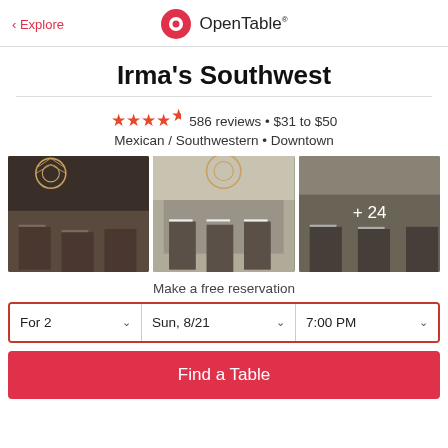< Explore | OpenTable
Irma's Southwest
★★★★½ 586 reviews • $31 to $50
Mexican / Southwestern • Downtown
[Figure (photo): Three restaurant interior photos showing dining room with star chandeliers, white-clothed tables; third photo shows +24 overlay]
Make a free reservation
For 2 | Sun, 8/21 | 7:00 PM
Find a Table